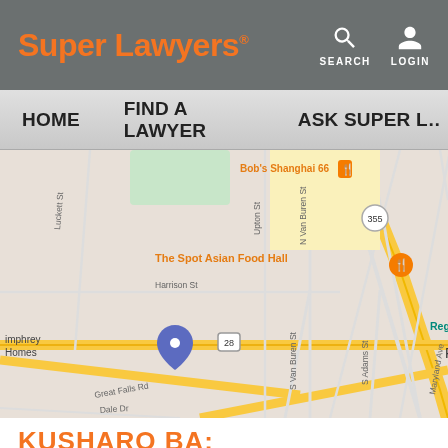Super Lawyers® — SEARCH  LOGIN
HOME   FIND A LAWYER   ASK SUPER L…
[Figure (map): Google Maps view of Rockville Town Square area in Rockville, MD. Shows streets including N Van Buren St, Great Falls Rd, S Van Buren St, S Adams St, Maryland Ave, E Jefferson St, Harrison St, Luckett St, Upton St, Dale Dr. Points of interest include The Spot Asian Food Hall, Bob's Shanghai 66, Regal Rockville Center, Rockville metro station, Montgomery County Humane Society, Humphrey Homes. A red pin marks Rockville Town Square. Route 355 and Route 28 are visible.]
KUSHARO BA: